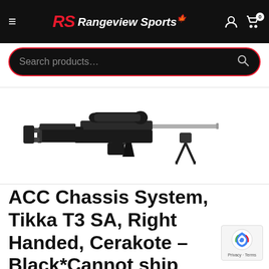Rangeview Sports
[Figure (screenshot): Search bar with red border on dark background, placeholder text 'Search products...']
[Figure (photo): ACC Chassis System rifle with scope and bipod, shown on white background]
ACC Chassis System, Tikka T3 SA, Right Handed, Cerakote – Black*Cannot ship outside Canada*